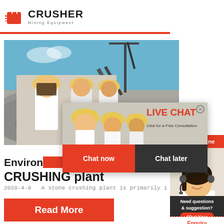[Figure (logo): Crusher Mining Equipment logo with red shopping bag icon and bold black CRUSHER text]
[Figure (photo): Mining/stone crushing plant site with gravel pile and crane, workers in yellow hard hats]
[Figure (screenshot): Live chat popup overlay with workers photo, LIVE CHAT text in red, 'Click for a Free Consultation', Chat now (red) and Chat later (dark) buttons]
Environmental Management Plan for CRUSHING plant
2020-4-9   A stone crushing plant is primarily i
[Figure (photo): 24Hrs Online banner in red with headset woman customer service representative photo below]
Need questions & suggestion?
Chat Now
Enquiry
limingjlmofen@sina.com
[Figure (other): Read More button in red/orange]